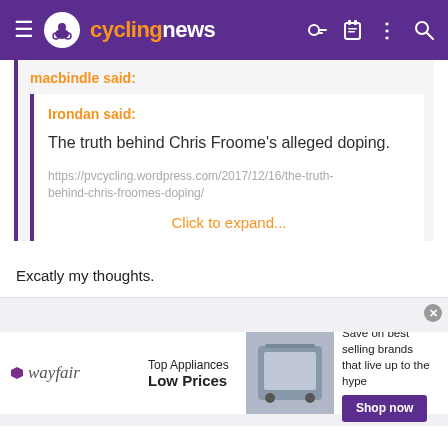cyclingnews
macbindle said:
Irondan said:
The truth behind Chris Froome's alleged doping.
https://pvcycling.wordpress.com/2017/12/16/the-truth-behind-chris-froomes-doping/
Click to expand...
Excatly my thoughts.
[Figure (other): Wayfair advertisement banner: Top Appliances Low Prices, Save on best selling brands that live up to the hype, Shop now button, appliance image]